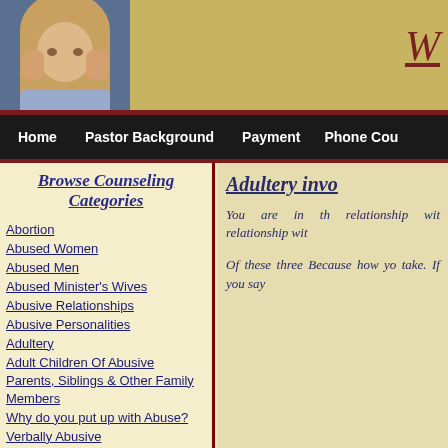[Figure (photo): Woman with hands on face, distressed expression, header photo]
W
Home  Pastor Background  Payment  Phone Cou
Browse Counseling Categories
Abortion
Abused Women
Abused Men
Abused Minister's Wives
Abusive Relationships
Abusive Personalities
Adultery
Adult Children Of Abusive Parents, Siblings & Other Family Members
Why do you put up with Abuse?
Verbally Abusive
Adultery invo
You are in th relationship wit relationship wit
Of these three Because how yo take. If you say